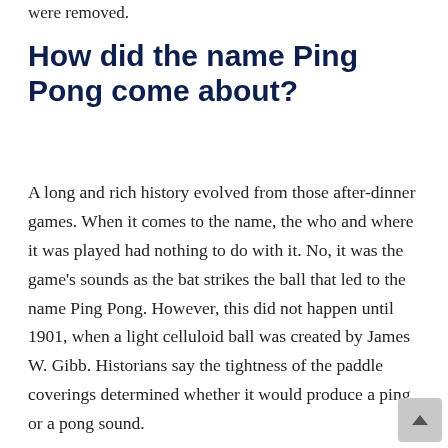were removed.
How did the name Ping Pong come about?
A long and rich history evolved from those after-dinner games. When it comes to the name, the who and where it was played had nothing to do with it. No, it was the game’s sounds as the bat strikes the ball that led to the name Ping Pong. However, this did not happen until 1901, when a light celluloid ball was created by James W. Gibb. Historians say the tightness of the paddle coverings determined whether it would produce a ping or a pong sound.